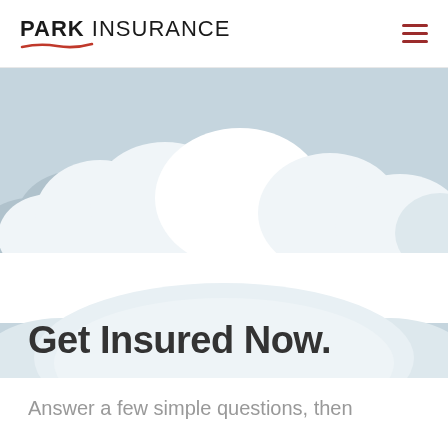PARK INSURANCE
[Figure (illustration): Sky background with large white cloud shapes at top and bottom, light blue-grey sky color, forming a cloudy scene for insurance website hero image]
Get Insured Now.
Answer a few simple questions, then